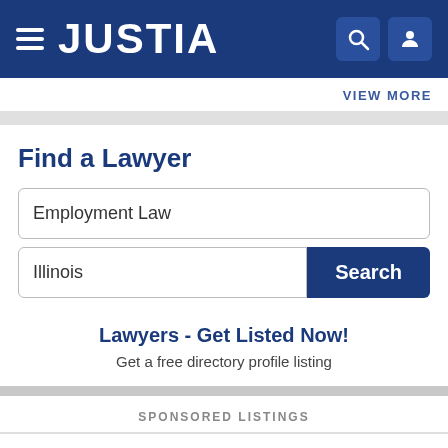JUSTIA
VIEW MORE
Find a Lawyer
Employment Law
Illinois
Search
Lawyers - Get Listed Now!
Get a free directory profile listing
SPONSORED LISTINGS